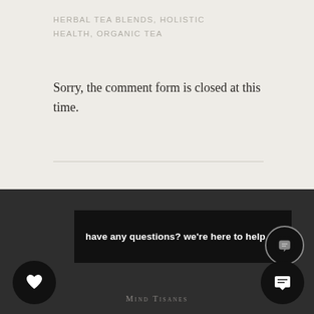HERBAL TEA BLENDS, HOLISTIC HEALTH, ORGANIC TEA
Sorry, the comment form is closed at this time.
[Figure (screenshot): Dark banner with text: have any questions? we're here to help.]
Mind Tisanes